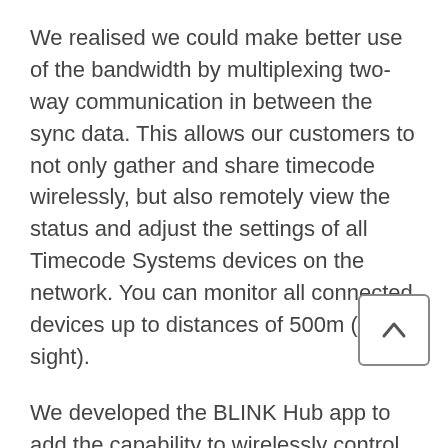We realised we could make better use of the bandwidth by multiplexing two-way communication in between the sync data. This allows our customers to not only gather and share timecode wirelessly, but also remotely view the status and adjust the settings of all Timecode Systems devices on the network. You can monitor all connected devices up to distances of 500m (line of sight).
We developed the BLINK Hub app to add the capability to wirelessly control (as well as synchronise) the cameras and sound equipment our products are attached to, all from a single screen. This includes